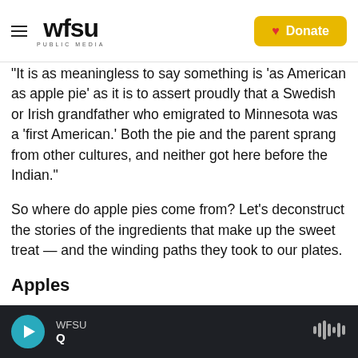WFSU PUBLIC MEDIA
"It is as meaningless to say something is 'as American as apple pie' as it is to assert proudly that a Swedish or Irish grandfather who emigrated to Minnesota was a ‘first American.’ Both the pie and the parent sprang from other cultures, and neither got here before the Indian."
So where do apple pies come from? Let's deconstruct the stories of the ingredients that make up the sweet treat — and the winding paths they took to our plates.
Apples
WFSU Q